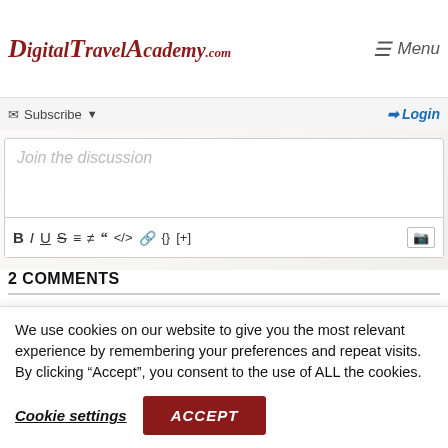DigitalTravelAcademy.com   Menu
Subscribe   Login
[Figure (screenshot): Comment text input box with placeholder text 'Join the discussion' and formatting toolbar with Bold, Italic, Underline, Strikethrough, ordered list, unordered list, blockquote, code, link, braces, and expand buttons]
2 COMMENTS
We use cookies on our website to give you the most relevant experience by remembering your preferences and repeat visits. By clicking “Accept”, you consent to the use of ALL the cookies.
Cookie settings   ACCEPT